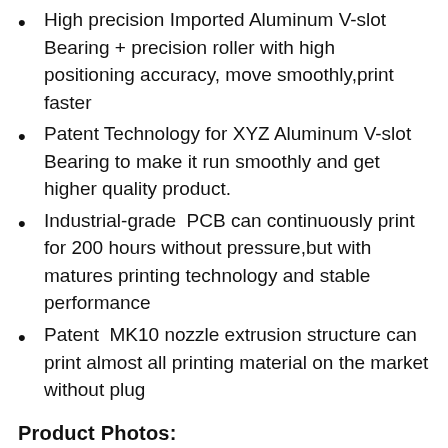High precision Imported Aluminum V-slot Bearing + precision roller with high positioning accuracy, move smoothly,print faster
Patent Technology for XYZ Aluminum V-slot Bearing to make it run smoothly and get higher quality product.
Industrial-grade PCB can continuously print for 200 hours without pressure,but with matures printing technology and stable performance
Patent MK10 nozzle extrusion structure can print almost all printing material on the market without plug
Product Photos: